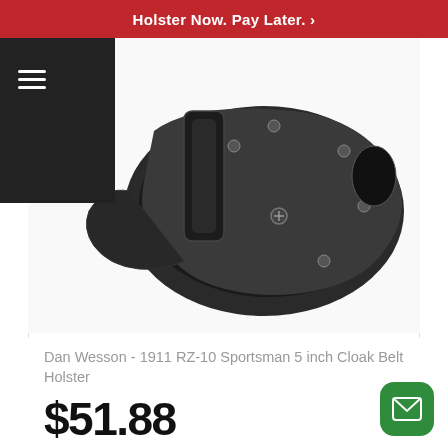Holster Now. Pay Later. ›
[Figure (photo): Black leather and polymer OWB belt holster for Dan Wesson 1911 RZ-10 Sportsman 5 inch, shown from angled top view]
Dan Wesson - 1911 RZ-10 Sportsman 5 inch Cloak Belt Holster
$51.88
or 4 interest-free payments of $12.97 ⚡ sezzle
★★★★★
PRODUCT DETAILS ›